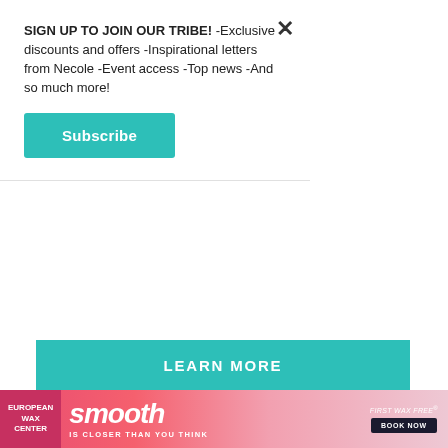SIGN UP TO JOIN OUR TRIBE! -Exclusive discounts and offers -Inspirational letters from Necole -Event access -Top news -And so much more!
Subscribe
LEARN MORE
Is It Because Everyone Around You Is Married (or Is Getting Mar...
[Figure (screenshot): Video player overlay showing 'Loading ad' text with spinner and playback controls on black background]
[Figure (photo): BBC television screenshot showing a person, bottom advertisement banner for European Wax Center / smooth promotion]